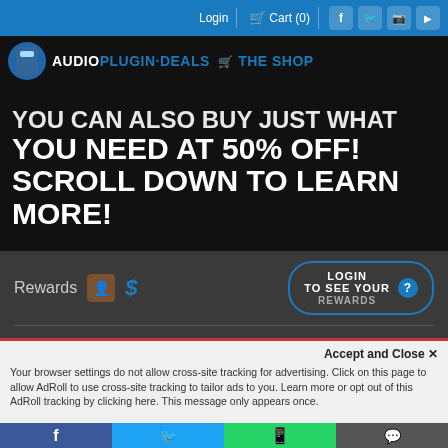Login   Cart (0)
[Figure (logo): AudioPlugin·Deals THE SHOP logo with cart icon, on dark background]
YOU CAN ALSO BUY JUST WHAT YOU NEED AT 50% OFF! SCROLL DOWN TO LEARN MORE!
Rewards   LOGIN TO SEE YOUR REWARDS ?
CURRENT PRICE $119.97   BASE PRICE $24.99
Accept and Close ×
Your browser settings do not allow cross-site tracking for advertising. Click on this page to allow AdRoll to use cross-site tracking to tailor ads to you. Learn more or opt out of this AdRoll tracking by clicking here. This message only appears once.
INSANE DEAL: Get 60% Off IK Multimedia
Facebook   Twitter   WhatsApp   SMS